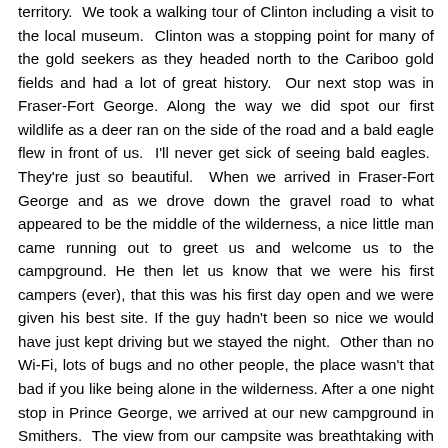territory.  We took a walking tour of Clinton including a visit to the local museum.  Clinton was a stopping point for many of the gold seekers as they headed north to the Cariboo gold fields and had a lot of great history.  Our next stop was in Fraser-Fort George. Along the way we did spot our first wildlife as a deer ran on the side of the road and a bald eagle flew in front of us.  I'll never get sick of seeing bald eagles.  They're just so beautiful.  When we arrived in Fraser-Fort George and as we drove down the gravel road to what appeared to be the middle of the wilderness, a nice little man came running out to greet us and welcome us to the campground. He then let us know that we were his first campers (ever), that this was his first day open and we were given his best site. If the guy hadn't been so nice we would have just kept driving but we stayed the night.  Other than no Wi-Fi, lots of bugs and no other people, the place wasn't that bad if you like being alone in the wilderness. After a one night stop in Prince George, we arrived at our new campground in Smithers.  The view from our campsite was breathtaking with a perfect view of the glacier on Hudson Bay Mountain right in front of us.  There were mountains and wilderness all around us. After spending a day enjoying downtown Smithers, we took a short hike to view the twin waterfalls that run on either side of the glacier. We also got to see the handle of our new wildlife